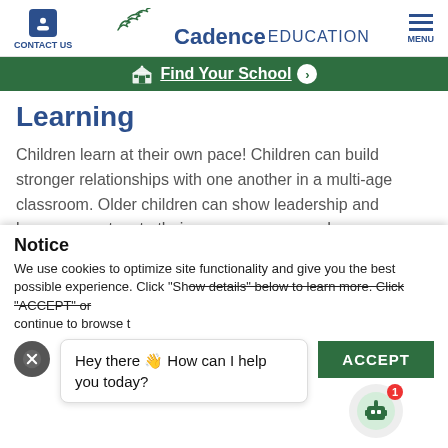CONTACT US | Cadence EDUCATION | MENU
Find Your School
Learning
Children learn at their own pace! Children can build stronger relationships with one another in a multi-age classroom. Older children can show leadership and become mentors to their younger peers, and younger children can model the older children. This arrangement mirrors real-life experiences where the
Notice
We use cookies to optimize site functionality and give you the best possible experience. Click "Show details" below to learn more. Click "ACCEPT" or continue to browse t...
Hey there 👋 How can I help you today?